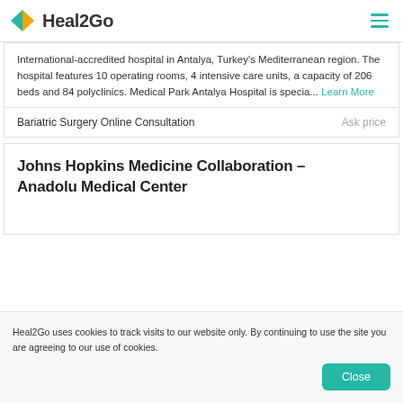Heal2Go
International-accredited hospital in Antalya, Turkey's Mediterranean region. The hospital features 10 operating rooms, 4 intensive care units, a capacity of 206 beds and 84 polyclinics. Medical Park Antalya Hospital is specia... Learn More
Bariatric Surgery Online Consultation	Ask price
Johns Hopkins Medicine Collaboration – Anadolu Medical Center
Heal2Go uses cookies to track visits to our website only. By continuing to use the site you are agreeing to our use of cookies.